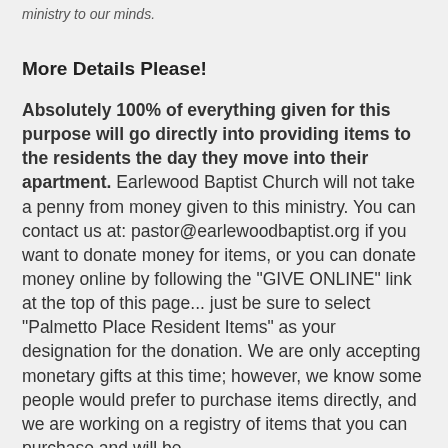ministry to our minds.
More Details Please!
Absolutely 100% of everything given for this purpose will go directly into providing items to the residents the day they move into their apartment. Earlewood Baptist Church will not take a penny from money given to this ministry. You can contact us at: pastor@earlewoodbaptist.org if you want to donate money for items, or you can donate money online by following the "GIVE ONLINE" link at the top of this page... just be sure to select "Palmetto Place Resident Items" as your designation for the donation. We are only accepting monetary gifts at this time; however, we know some people would prefer to purchase items directly, and we are working on a registry of items that you can purchase and will be